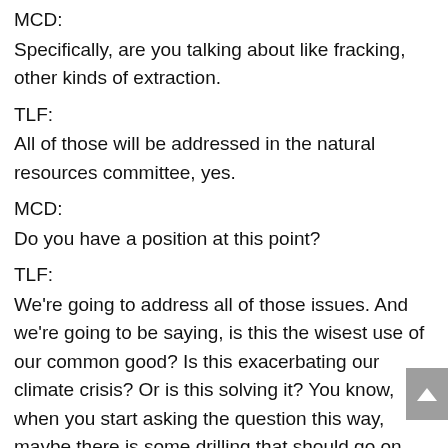MCD:
Specifically, are you talking about like fracking, other kinds of extraction.
TLF:
All of those will be addressed in the natural resources committee, yes.
MCD:
Do you have a position at this point?
TLF:
We're going to address all of those issues. And we're going to be saying, is this the wisest use of our common good? Is this exacerbating our climate crisis? Or is this solving it? You know, when you start asking the question this way, maybe there is some drilling that should go on and maybe there is a lot of other drilling that shouldn't. Maybe we need to make sure that the range of things we're going to need to do from making sure there is adequate